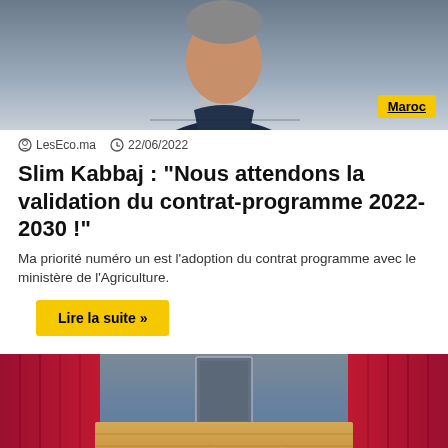[Figure (photo): Portrait photo of a man wearing a dark navy zip-up sweater over a collared shirt, with a yellow 'Maroc' badge overlay in the bottom-right corner]
LesEco.ma   22/06/2022
Slim Kabbaj : "Nous attendons la validation du contrat-programme 2022-2030 !"
Ma priorité numéro un est l'adoption du contrat programme avec le ministère de l'Agriculture.
Lire la suite »
[Figure (photo): Group photo of approximately 15 people standing and sitting in front of red curtains with a portrait on the wall behind them and a wooden panel backdrop]